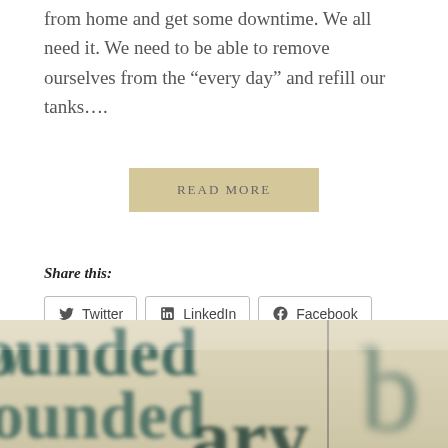from home and get some downtime. We all need it. We need to be able to remove ourselves from the “every day” and refill our tanks....
READ MORE
Share this:
Twitter
LinkedIn
Facebook
Pinterest
Email
Like this:
Loading...
[Figure (photo): Close-up photograph of printed text showing partial words 'ounded', 'ounded', and 'ary' in a serif font on aged/tinted paper, with blurred background]